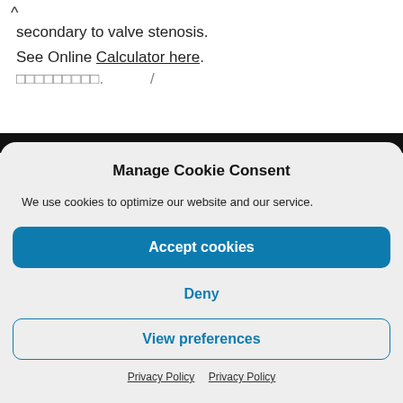secondary to valve stenosis.
See Online Calculator here.
□□□□□□□□□.          /
[Figure (screenshot): Black navigation bar / screenshot strip at top of embedded video or webpage]
Manage Cookie Consent
We use cookies to optimize our website and our service.
Accept cookies
Deny
View preferences
Privacy Policy   Privacy Policy